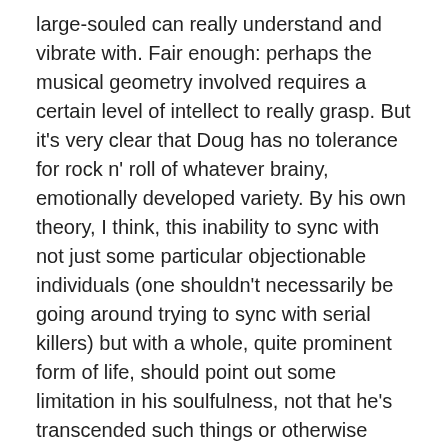large-souled can really understand and vibrate with. Fair enough: perhaps the musical geometry involved requires a certain level of intellect to really grasp. But it's very clear that Doug has no tolerance for rock n' roll of whatever brainy, emotionally developed variety. By his own theory, I think, this inability to sync with not just some particular objectionable individuals (one shouldn't necessarily be going around trying to sync with serial killers) but with a whole, quite prominent form of life, should point out some limitation in his soulfulness, not that he's transcended such things or otherwise locked himself off from them by his sympathy with Bach.
Overall, the book, like his more famous one, moves slowly but pleasantly, and to me reads like an introductory primer to a position than then needs more rigorous, systematic, and footnoted treatment in a more traditionally academic paper, which I of course would then probably not get around to reading. It's fun and